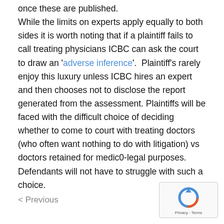once these are published. While the limits on experts apply equally to both sides it is worth noting that if a plaintiff fails to call treating physicians ICBC can ask the court to draw an 'adverse inference'.  Plaintiff's rarely enjoy this luxury unless ICBC hires an expert and then chooses not to disclose the report generated from the assessment. Plaintiffs will be faced with the difficult choice of deciding whether to come to court with treating doctors (who often want nothing to do with litigation) vs doctors retained for medic0-legal purposes. Defendants will not have to struggle with such a choice.
< Previous